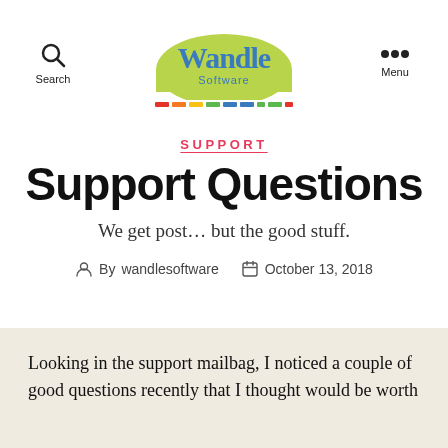Search  [Wandle Software logo]  Menu
[Figure (logo): Wandle Software logo: green hill-shaped background with 'Wandle' text in blue and 'Software' in smaller text below, with a rainbow-colored bar of dashes underneath]
SUPPORT
Support Questions
We get post… but the good stuff.
By wandlesoftware   October 13, 2018
Looking in the support mailbag, I noticed a couple of good questions recently that I thought would be worth